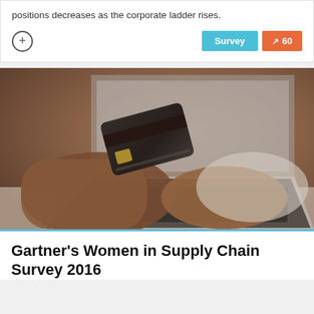positions decreases as the corporate ladder rises.
[Figure (photo): Person holding a credit card while using a laptop keyboard, shopping online]
Gartner's Women in Supply Chain Survey 2016